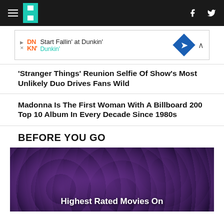HuffPost navigation bar with hamburger menu, logo, Facebook and Twitter icons
[Figure (other): Dunkin' advertisement banner: Start Fallin' at Dunkin']
'Stranger Things' Reunion Selfie Of Show's Most Unlikely Duo Drives Fans Wild
Madonna Is The First Woman With A Billboard 200 Top 10 Album In Every Decade Since 1980s
BEFORE YOU GO
[Figure (photo): Dark purple crowd photo with overlay text 'Highest Rated Movies On']